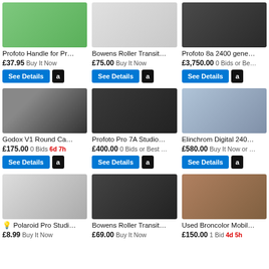[Figure (screenshot): eBay product listing grid showing photography lighting equipment for sale. 3 columns x 3 rows of product cards.]
Profoto Handle for Pr... £37.95 Buy It Now
Bowens Roller Transit... £75.00 Buy It Now
Profoto 8a 2400 gene... £3,750.00 0 Bids or Be...
Godox V1 Round Ca... £175.00 0 Bids 6d 7h
Profoto Pro 7A Studio... £400.00 0 Bids or Best ...
Elinchrom Digital 240... £580.00 Buy It Now or ...
Polaroid Pro Studi... £8.99 Buy It Now
Bowens Roller Transit... £69.00 Buy It Now
Used Broncolor Mobil... £150.00 1 Bid 4d 5h